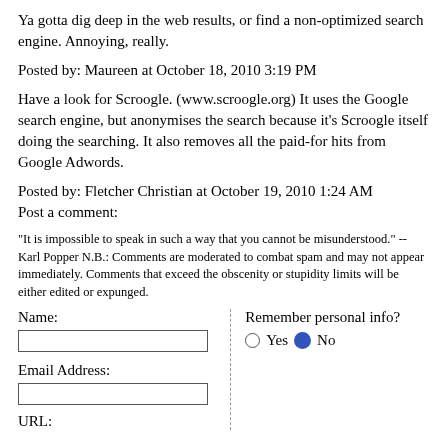Ya gotta dig deep in the web results, or find a non-optimized search engine. Annoying, really.
Posted by: Maureen at October 18, 2010 3:19 PM
Have a look for Scroogle. (www.scroogle.org) It uses the Google search engine, but anonymises the search because it's Scroogle itself doing the searching. It also removes all the paid-for hits from Google Adwords.
Posted by: Fletcher Christian at October 19, 2010 1:24 AM
Post a comment:
"It is impossible to speak in such a way that you cannot be misunderstood." -- Karl Popper N.B.: Comments are moderated to combat spam and may not appear immediately. Comments that exceed the obscenity or stupidity limits will be either edited or expunged.
Name:
Remember personal info?
Yes   No
Email Address:
URL: